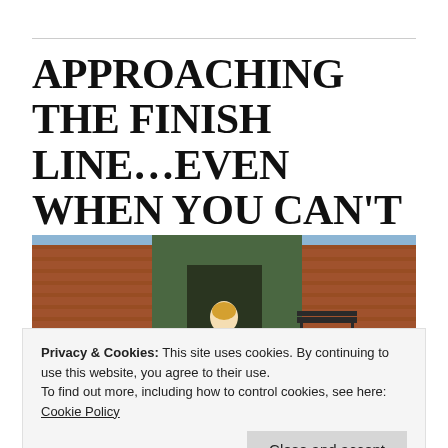APPROACHING THE FINISH LINE...EVEN WHEN YOU CAN'T SEE IT
[Figure (photo): A person with blonde hair sitting on steps in front of a brick building with a bench visible in the background]
Privacy & Cookies: This site uses cookies. By continuing to use this website, you agree to their use.
To find out more, including how to control cookies, see here: Cookie Policy
times of the year for any college student. It's